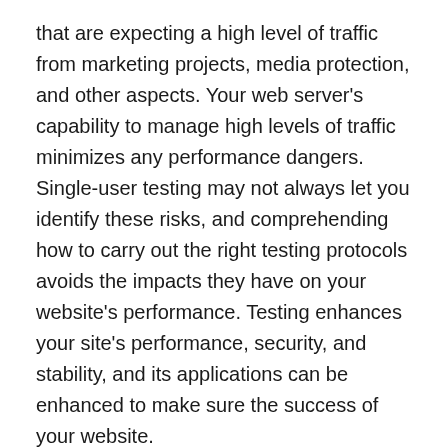that are expecting a high level of traffic from marketing projects, media protection, and other aspects. Your web server's capability to manage high levels of traffic minimizes any performance dangers. Single-user testing may not always let you identify these risks, and comprehending how to carry out the right testing protocols avoids the impacts they have on your website's performance. Testing enhances your site's performance, security, and stability, and its applications can be enhanced to make sure the success of your website.
Testing the design of your website is a continuous process. Numerous law practice only test their sites throughout the initial development stage and after that assume that whatever is in order. But testing isn't a “set it and forget it” strategy. In time, website